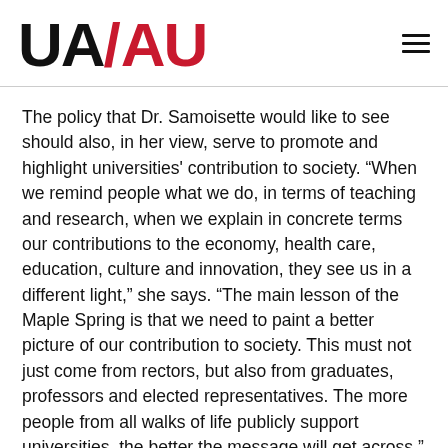[Figure (logo): UA/AU logo with black 'UA' and red '/AU' text, university association branding]
The policy that Dr. Samoisette would like to see should also, in her view, serve to promote and highlight universities' contribution to society. “When we remind people what we do, in terms of teaching and research, when we explain in concrete terms our contributions to the economy, health care, education, culture and innovation, they see us in a different light,” she says. “The main lesson of the Maple Spring is that we need to paint a better picture of our contribution to society. This must not just come from rectors, but also from graduates, professors and elected representatives. The more people from all walks of life publicly support universities, the better the message will get across.”